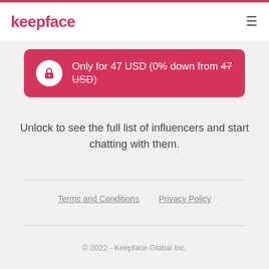keepface
[Figure (other): Pink rounded button with lock icon and price text: Only for 47 USD (0% down from 47 USD)]
Unlock to see the full list of influencers and start chatting with them.
Terms and Conditions   Privacy Policy
© 2022 - Keepface Global Inc.